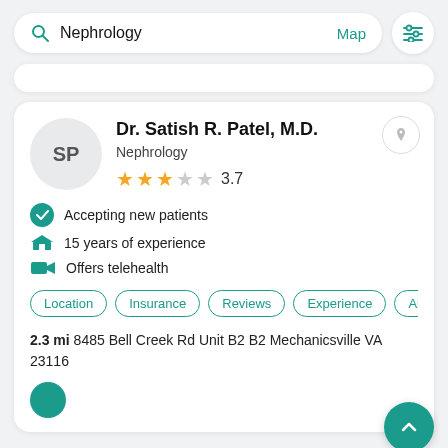[Figure (screenshot): Mobile app search bar with search icon, 'Nephrology' text, 'Map' link, and filter button]
Dr. Satish R. Patel, M.D.
Nephrology
3.7 stars rating
Accepting new patients
15 years of experience
Offers telehealth
Location | Insurance | Reviews | Experience | About
2.3 mi 8485 Bell Creek Rd Unit B2 B2 Mechanicsville VA 23116